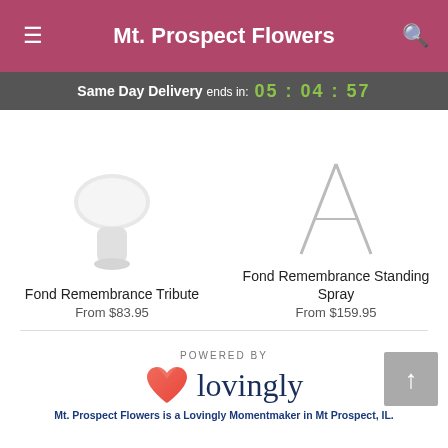Mt. Prospect Flowers
Same Day Delivery ends in: 05 : 04 : 57
Fond Remembrance Tribute
From $83.95
Fond Remembrance Standing Spray
From $159.95
[Figure (logo): Lovingly logo with heart icon and text 'lovingly'. Preceded by 'POWERED BY' label.]
Mt. Prospect Flowers is a Lovingly Momentmaker in Mt Prospect, IL.
Buying local matters. Discover how Lovingly is committed to strengthening relationships by helping local florists market, sell, and deliver their floral designs online.